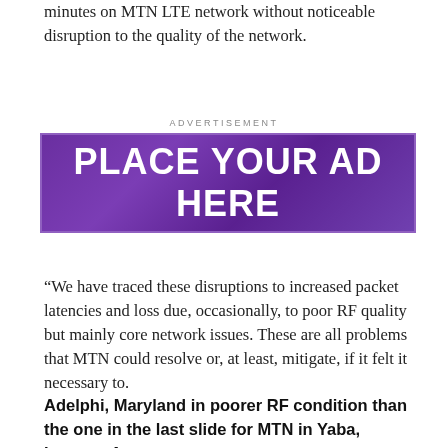minutes on MTN LTE network without noticeable disruption to the quality of the network.
[Figure (other): Advertisement banner placeholder reading PLACE YOUR AD HERE on a purple background]
“We have traced these disruptions to increased packet latencies and loss due, occasionally, to poor RF quality but mainly core network issues. These are all problems that MTN could resolve or, at least, mitigate, if it felt it necessary to.
Adelphi, Maryland in poorer RF condition than the one in the last slide for MTN in Yaba, Lagos – Average